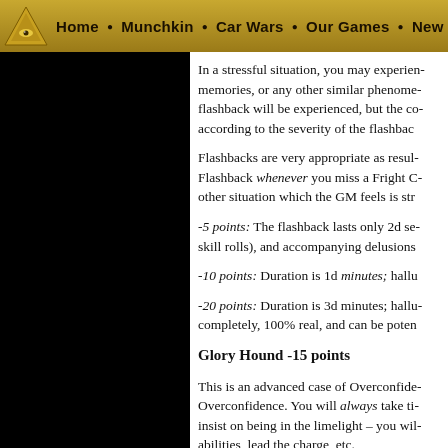Home • Munchkin • Car Wars • Our Games • New Rele
In a stressful situation, you may experience memories, or any other similar phenomena. A flashback will be experienced, but the cost is according to the severity of the flashback.
Flashbacks are very appropriate as results of a Flashback whenever you miss a Fright Check, other situation which the GM feels is stressful.
-5 points: The flashback lasts only 2d seconds (not skill rolls), and accompanying delusions...
-10 points: Duration is 1d minutes; hallu...
-20 points: Duration is 3d minutes; hallu... completely, 100% real, and can be poten...
Glory Hound -15 points
This is an advanced case of Overconfidence. You will always take ti... insist on being in the limelight – you will... abilities, lead the charge, etc.